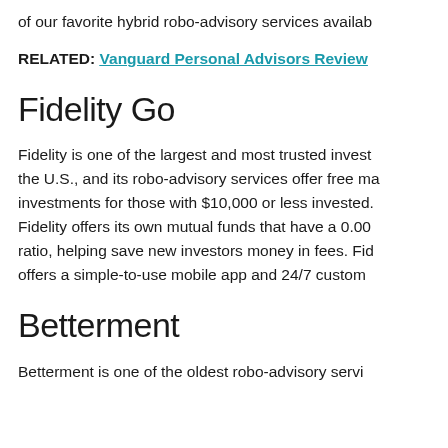of our favorite hybrid robo-advisory services availab
RELATED: Vanguard Personal Advisors Review
Fidelity Go
Fidelity is one of the largest and most trusted invest the U.S., and its robo-advisory services offer free ma investments for those with $10,000 or less invested. Fidelity offers its own mutual funds that have a 0.00 ratio, helping save new investors money in fees. Fid offers a simple-to-use mobile app and 24/7 custom
Betterment
Betterment is one of the oldest robo-advisory servi